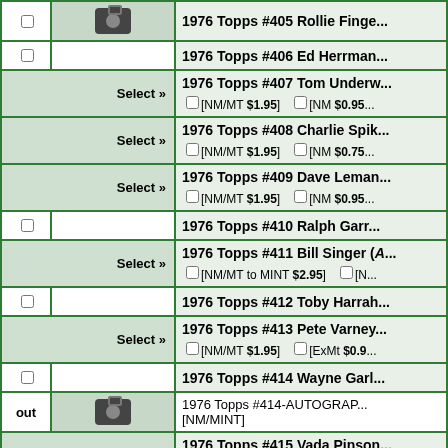| Check | Image | Card Info |
| --- | --- | --- |
| ☐ | [camera] | 1976 Topps #405 Rollie Finge... |
| ☐ |  | 1976 Topps #406 Ed Herrman... |
|  | Select » | 1976 Topps #407 Tom Underw... [NM/MT $1.95] [NM $0.95] |
|  | Select » | 1976 Topps #408 Charlie Spik... [NM/MT $1.95] [NM $0.75] |
|  | Select » | 1976 Topps #409 Dave Leman... [NM/MT $1.95] [NM $0.95] |
| ☐ |  | 1976 Topps #410 Ralph Garr... |
|  | Select » | 1976 Topps #411 Bill Singer (A... [NM/MT to MINT $2.95] [N...] |
| ☐ |  | 1976 Topps #412 Toby Harral... |
|  | Select » | 1976 Topps #413 Pete Varney... [NM/MT $1.95] [ExMt $0.9] |
| ☐ |  | 1976 Topps #414 Wayne Garl... |
| out | [camera] | 1976 Topps #414-AUTOGRAP... [NM/MINT] |
|  | Select » | 1976 Topps #415 Vada Pinson... [NM/MT $2.95] [ExMt $1.5] |